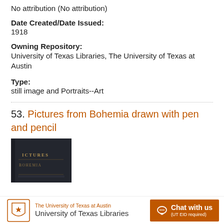No attribution (No attribution)
Date Created/Date Issued:
1918
Owning Repository:
University of Texas Libraries, The University of Texas at Austin
Type:
still image and Portraits--Art
53. Pictures from Bohemia drawn with pen and pencil
[Figure (photo): Thumbnail image of a dark book cover with text 'ICTURES' and 'BOHEMIA' visible in gold lettering]
The University of Texas at Austin University of Texas Libraries  Chat with us (UT EID required)